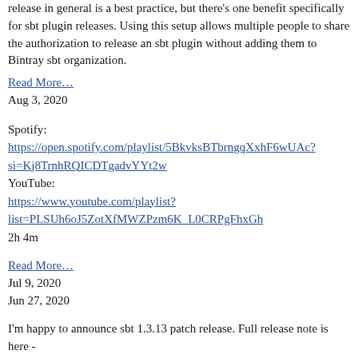release in general is a best practice, but there's one benefit specifically for sbt plugin releases. Using this setup allows multiple people to share the authorization to release an sbt plugin without adding them to Bintray sbt organization.
Read More…
Aug 3, 2020
Spotify:
https://open.spotify.com/playlist/5BkvksBTbrngqXxhF6wUAc?si=Kj8TrnhRQICDTgadvYYt2w
YouTube:
https://www.youtube.com/playlist?list=PLSUh6oJ5ZotXfMWZPzm6K_L0CRPgFhxGh
2h 4m
Read More…
Jul 9, 2020
Jun 27, 2020
I'm happy to announce sbt 1.3.13 patch release. Full release note is here -
https://github.com/sbt/sbt/releases/tag/v1.3.13
.
Special thanks to Scala Center. It takes time to review bug reports, pull requests, make sure contributions land to the right places, and